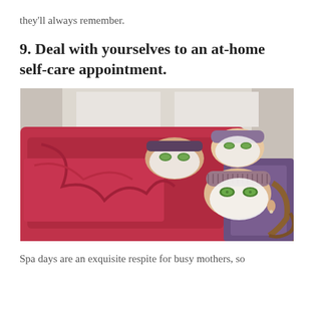they'll always remember.
9. Deal with yourselves to an at-home self-care appointment.
[Figure (photo): Three people lying down wearing pink/red robes and face masks with cucumber slices on their eyes, having a spa day at home.]
Spa days are an exquisite respite for busy mothers, so